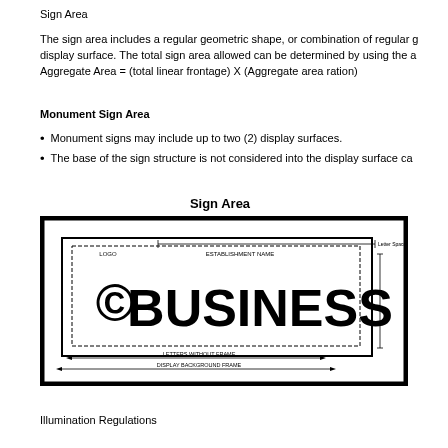Sign Area
The sign area includes a regular geometric shape, or combination of regular geometric shapes that enclose the display surface. The total sign area allowed can be determined by using the aggregate area formula:
Aggregate Area = (total linear frontage) X (Aggregate area ration)
Monument Sign Area
Monument signs may include up to two (2) display surfaces.
The base of the sign structure is not considered into the display surface calculation.
Sign Area
[Figure (engineering-diagram): Sign area diagram showing a business sign with LOGO and ESTABLISHMENT NAME labels, large text reading © BUSINESS, with dimension lines indicating Letter Space Between Elements, Letters Without Frame, and Display Background Frame.]
Illumination Regulations